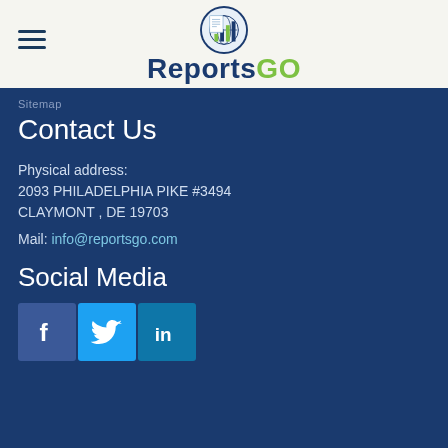[Figure (logo): ReportsGO logo with circular icon showing a bar chart and globe, and text 'ReportsGO' where 'Reports' is dark navy and 'GO' is lime green]
Sitemap
Contact Us
Physical address:
2093 PHILADELPHIA PIKE #3494
CLAYMONT , DE 19703
Mail: info@reportsgo.com
Social Media
[Figure (illustration): Three social media icon buttons: Facebook (dark blue with f), Twitter (light blue with bird), LinkedIn (medium blue with 'in')]